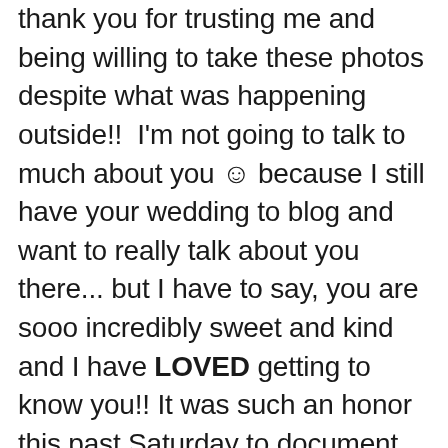thank you for trusting me and being willing to take these photos despite what was happening outside!!  I'm not going to talk to much about you ☺ because I still have your wedding to blog and want to really talk about you there... but I have to say, you are sooo incredibly sweet and kind and I have LOVED getting to know you!! It was such an honor this past Saturday to document yours & Tyler's wedding day!!!  Here are just a few of my